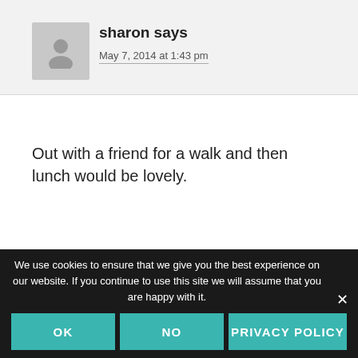sharon says
May 7, 2014 at 1:43 pm
Out with a friend for a walk and then lunch would be lovely.
Reply
We use cookies to ensure that we give you the best experience on our website. If you continue to use this site we will assume that you are happy with it.
OK
NO
PRIVACY POLICY